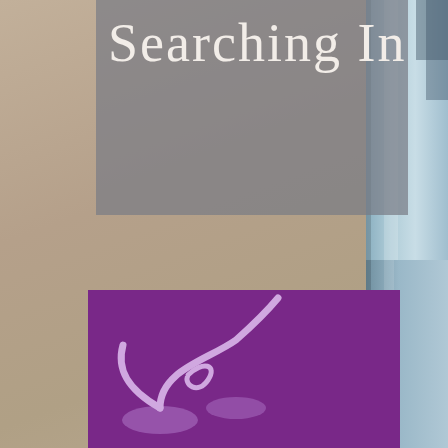[Figure (illustration): Book cover fragment showing partial title text 'Searching In' in white serif font over a grey semi-transparent panel, on a tan/beige textured background. A blue-grey cylindrical object is visible on the right edge. At the bottom, a purple rectangle contains a stylized logo with a plant or vine shape in light purple/lilac tones.]